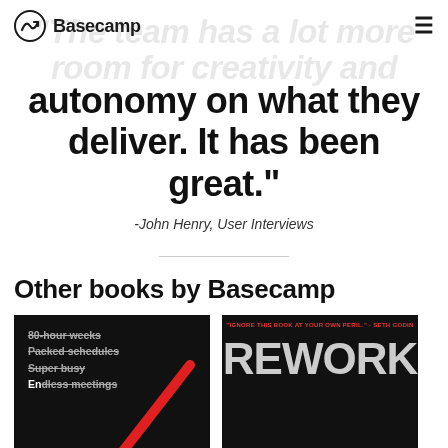Basecamp
"The team has a lot more room for creativity and autonomy on what they deliver. It has been great."
-John Henry, User Interviews
Other books by Basecamp
[Figure (illustration): Book cover: Getting Real - black background with red diagonal slash, text listing crossed-out items: 80-hour weeks, Packed schedules, Super busy, Endless meetings]
[Figure (illustration): Book cover: Rework - black background with large grey REWORK text and red tagline quote by Seth Godin]